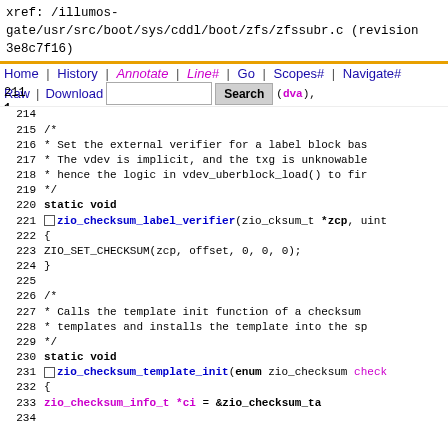xref: /illumos-gate/usr/src/boot/sys/cddl/boot/zfs/zfssubr.c (revision 3e8c7f16)
Home | History | Annotate | Line# | Go | Scopes# | Navigate# | Raw | Download | Search | current directory
214
215    /*
216     * Set the external verifier for a label block bas
217     * The vdev is implicit, and the txg is unknowable
218     * hence the logic in vdev_uberblock_load() to fir
219     */
220    static void
221 [+] zio_checksum_label_verifier(zio_cksum_t *zcp, uint
222    {
223            ZIO_SET_CHECKSUM(zcp, offset, 0, 0, 0);
224    }
225
226    /*
227     * Calls the template init function of a checksum
228     * templates and installs the template into the sp
229     */
230    static void
231 [+] zio_checksum_template_init(enum zio_checksum check
232    {
233            zio_checksum_info_t *ci = &zio_checksum_ta
234
235